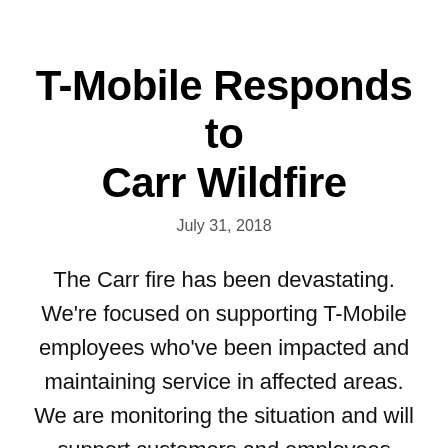T-Mobile Responds to Carr Wildfire
July 31, 2018
The Carr fire has been devastating. We're focused on supporting T-Mobile employees who've been impacted and maintaining service in affected areas. We are monitoring the situation and will support customers and employees